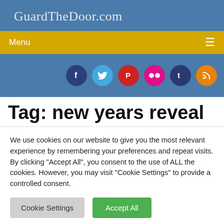GuardTheDoor.com
Menu
[Figure (infographic): Social media icon row: Facebook (dark blue), Twitter (light blue), Pinterest (red), Flickr (pink/magenta), Tumblr (dark blue), RSS (orange)]
Tag: new years reveal
We use cookies on our website to give you the most relevant experience by remembering your preferences and repeat visits. By clicking "Accept All", you consent to the use of ALL the cookies. However, you may visit "Cookie Settings" to provide a controlled consent.
Cookie Settings | Accept All